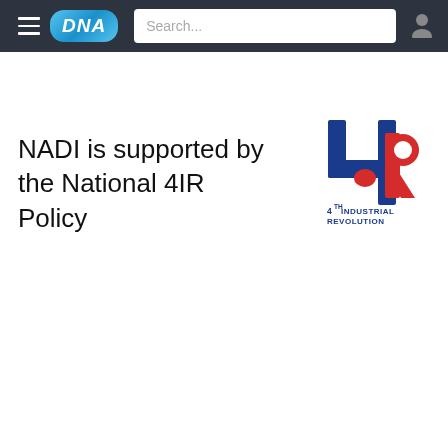DNA — Search bar — User icon
NADI is supported by the National 4IR Policy
[Figure (logo): 4th Industrial Revolution logo: large red and blue numeral 4 with letter R, with text '4TH INDUSTRIAL REVOLUTION' below]